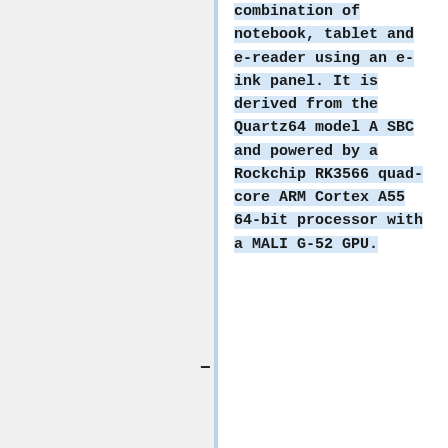combination of notebook, tablet and e-reader using an e-ink panel. It is derived from the Quartz64 model A SBC and powered by a Rockchip RK3566 quad-core ARM Cortex A55 64-bit processor with a MALI G-52 GPU.